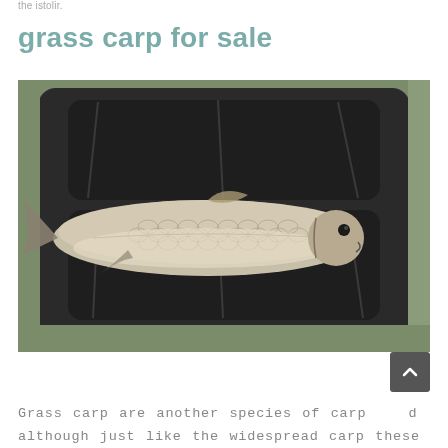the istolir.
grass carp for sale
[Figure (photo): A grass carp fish lying on a dark fishing mat/unhooking mat on green grass. The fish is large, silvery-white with visible scales, viewed from above.]
Grass carp are another species of carp and although just like the widespread carp these